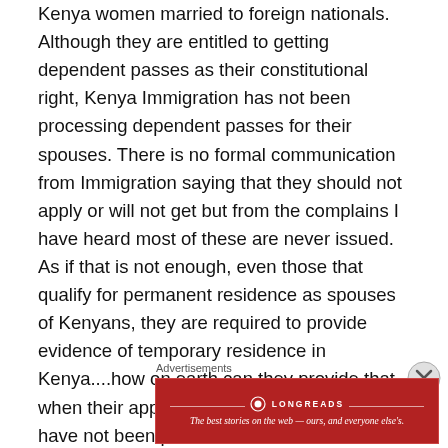Kenya women married to foreign nationals. Although they are entitled to getting dependent passes as their constitutional right, Kenya Immigration has not been processing dependent passes for their spouses. There is no formal communication from Immigration saying that they should not apply or will not get but from the complains I have heard most of these are never issued. As if that is not enough, even those that qualify for permanent residence as spouses of Kenyans, they are required to provide evidence of temporary residence in Kenya....how on earth can they provide that when their applications for dependent passes have not been processed or have been rejected all together? Anyway I hope someone will think about it and consider some solutions for them.  I am not
Advertisements
[Figure (other): Longreads advertisement banner: red background with logo and tagline 'The best stories on the web — ours, and everyone else's.']